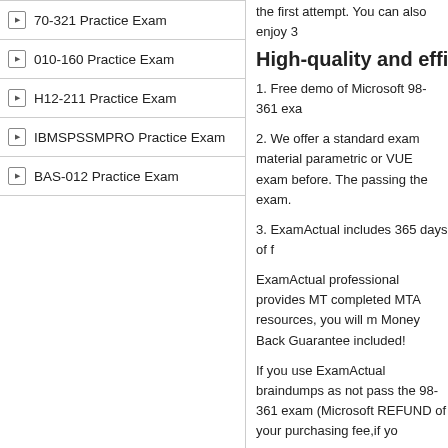70-321 Practice Exam
010-160 Practice Exam
H12-211 Practice Exam
IBMSPSSMPRO Practice Exam
BAS-012 Practice Exam
the first attempt. You can also enjoy 3
High-quality and efficie
1. Free demo of Microsoft 98-361 exa
2. We offer a standard exam material parametric or VUE exam before. The passing the exam.
3. ExamActual includes 365 days of f
ExamActual professional provides MT completed MTA resources, you will m Money Back Guarantee included!
If you use ExamActual braindumps as not pass the 98-361 exam (Microsoft REFUND of your purchasing fee,if yo
Related Exams